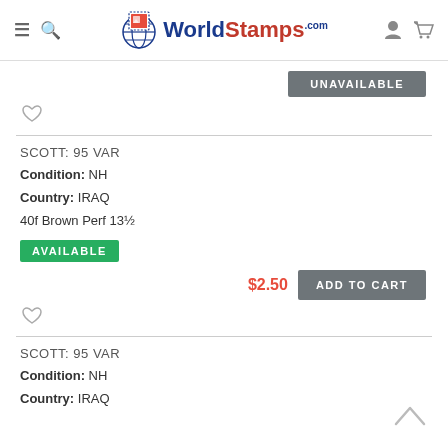WorldStamps.com
UNAVAILABLE
SCOTT: 95 VAR
Condition: NH
Country: IRAQ
40f Brown Perf 13½
AVAILABLE
$2.50  ADD TO CART
SCOTT: 95 VAR
Condition: NH
Country: IRAQ